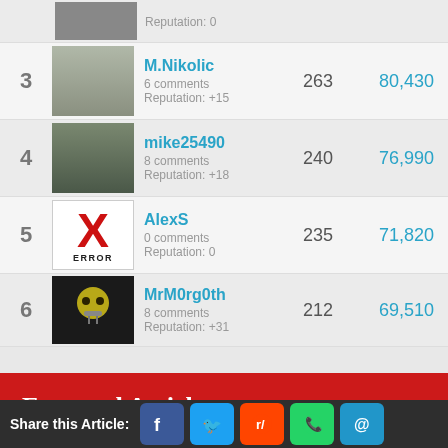3 — M.Nikolic — 6 comments — Reputation: +15 — 263 — 80,430
4 — mike25490 — 8 comments — Reputation: +18 — 240 — 76,990
5 — AlexS — 0 comments — Reputation: 0 — 235 — 71,820
6 — MrM0rg0th — 8 comments — Reputation: +31 — 212 — 69,510
Featured Articles
[Top 15] Best Horror Games for Android (Ranked Fun To Most
Share this Article: